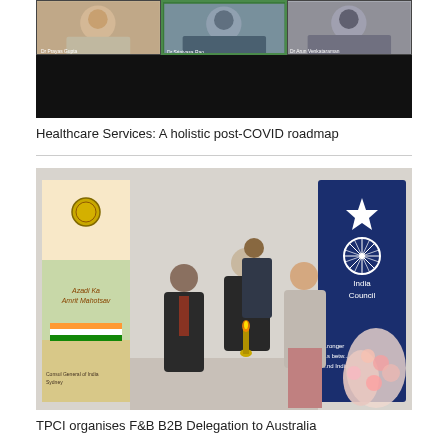[Figure (photo): Screenshot of a video conference showing three participants: Dr. Prayas Gupta, Dr. Srinivasa Rao, and Dr. Arun Venkataraman, on a dark background]
Healthcare Services: A holistic post-COVID roadmap
[Figure (photo): A formal event photo showing people at what appears to be a lamp-lighting ceremony. There is an India Council banner on the right and an Azadi Ka Amrit Mahotsav banner on the left. Text visible: Consul General of India, Sydney. Flowers visible on right side.]
TPCI organises F&B B2B Delegation to Australia